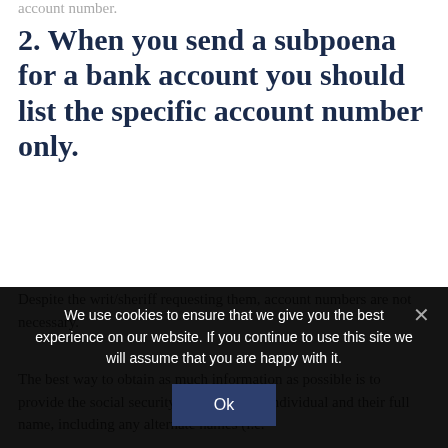account number.
2. When you send a subpoena for a bank account you should list the specific account number only.
Despite the writ/sheriff requesting them, account numbers are not necessary.
The best way to obtain as much information as possible is to provide the social security number of the individual and their full name, including any alternate names (i.e.
We use cookies to ensure that we give you the best experience on our website. If you continue to use this site we will assume that you are happy with it.